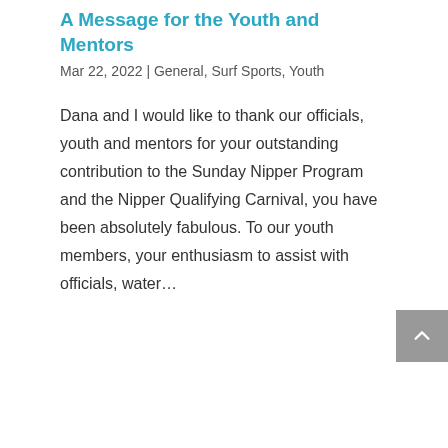A Message for the Youth and Mentors
Mar 22, 2022 | General, Surf Sports, Youth
Dana and I would like to thank our officials, youth and mentors for your outstanding contribution to the Sunday Nipper Program and the Nipper Qualifying Carnival, you have been absolutely fabulous. To our youth members, your enthusiasm to assist with officials, water…